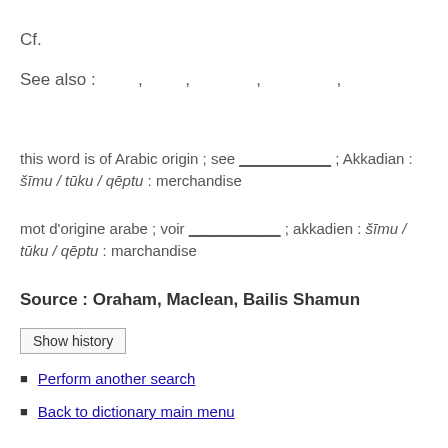Cf.
See also : , , , ,
this word is of Arabic origin ; see ___________ ; Akkadian : šīmu / tūku / qēptu : merchandise
mot d'origine arabe ; voir ___________ ; akkadien : šīmu / tūku / qēptu : marchandise
Source : Oraham, Maclean, Bailis Shamun
Show history
Perform another search
Back to dictionary main menu